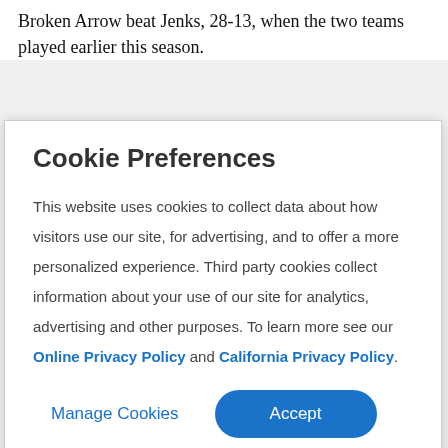Broken Arrow beat Jenks, 28-13, when the two teams played earlier this season.
Cookie Preferences
This website uses cookies to collect data about how visitors use our site, for advertising, and to offer a more personalized experience. Third party cookies collect information about your use of our site for analytics, advertising and other purposes. To learn more see our Online Privacy Policy and California Privacy Policy.
Manage Cookies   Accept